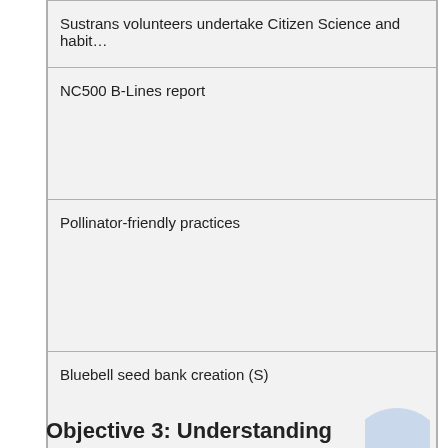| Sustrans volunteers undertake Citizen Science and habitat surveying |
| NC500 B-Lines report |
| Pollinator-friendly practices |
| Bluebell seed bank creation (S) |
Objective 3: Understanding